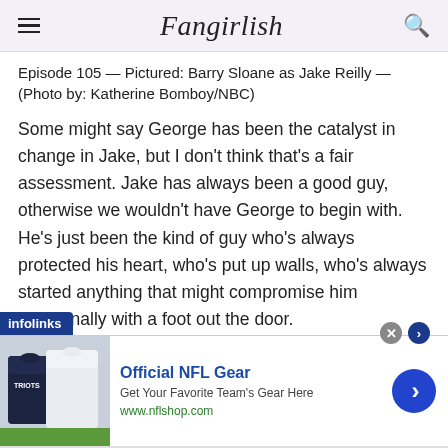Fangirlish
Episode 105 — Pictured: Barry Sloane as Jake Reilly — (Photo by: Katherine Bomboy/NBC)
Some might say George has been the catalyst in change in Jake, but I don't think that's a fair assessment. Jake has always been a good guy, otherwise we wouldn't have George to begin with. He's just been the kind of guy who's always protected his heart, who's put up walls, who's always started anything that might compromise him emotionally with a foot out the door.
[Figure (other): Infolinks advertisement banner for Official NFL Gear featuring NFL jerseys image, with title 'Official NFL Gear', subtitle 'Get Your Favorite Team's Gear Here', url 'www.nflshop.com', and a blue arrow button]